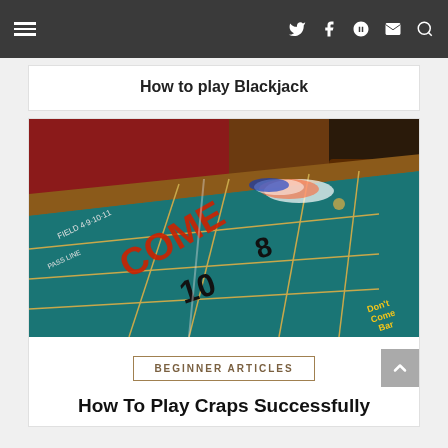Navigation bar with hamburger menu and social/search icons
How to play Blackjack
[Figure (photo): Photo of a casino craps table with teal felt, showing numbers 8, 10, Come/Don't Come bar markings in yellow and red lettering, casino chips visible in background]
BEGINNER ARTICLES
How To Play Craps Successfully